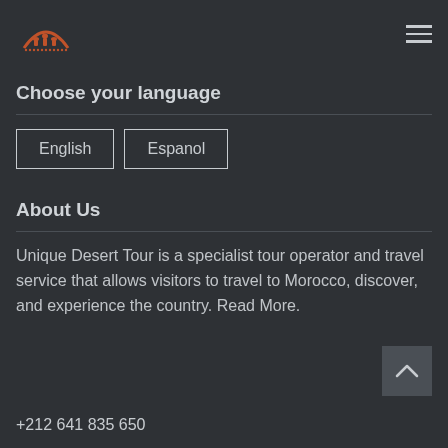Logo and navigation menu
Choose your language
English
Espanol
About Us
Unique Desert Tour is a specialist tour operator and travel service that allows visitors to travel to Morocco, discover, and experience the country. Read More.
+212 641 835 650